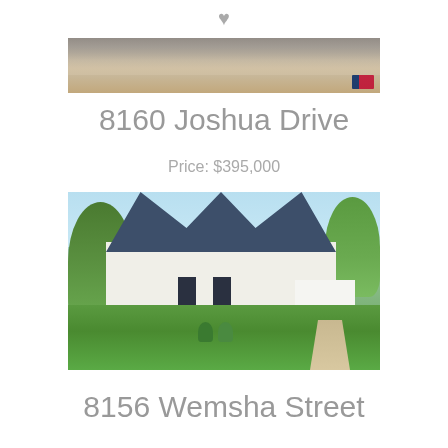[Figure (photo): Top portion of a house photo, cropped, showing roof and tree branches. Realtor logo badge visible in bottom right corner.]
8160 Joshua Drive
Price: $395,000
[Figure (photo): Photo of a two-story Cape Cod style white house with dark blue roof, front porch, attached garage, large green lawn, and trees in background.]
8156 Wemsha Street